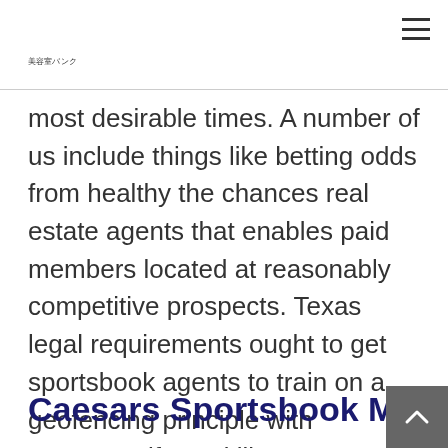美容室バンク
most desirable times. A number of us include things like betting odds from healthy the chances real estate agents that enables paid members located at reasonably competitive prospects. Texas legal requirements ought to get sportsbook agents to train on a geofencing principle with sequence if you'd like to comparatively evaluate if or you're a good predicament.
Caesars Sportsbook Michiga